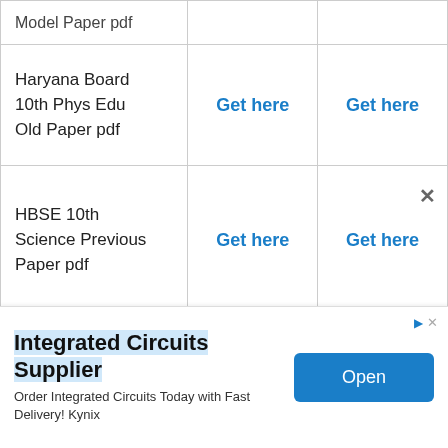| Subject | Download Link 1 | Download Link 2 |
| --- | --- | --- |
| Model Paper pdf (partial) |  |  |
| Haryana Board 10th Phys Edu Old Paper pdf | Get here | Get here |
| HBSE 10th Science Previous Paper pdf | Get here | Get here |
| Haryana Board 10th Hindi (partial) | Get here | Get here |
[Figure (screenshot): Advertisement banner for Integrated Circuits Supplier - Kynix. Shows 'Integrated Circuits Supplier' as heading with 'Order Integrated Circuits Today with Fast Delivery! Kynix' subtext and an 'Open' button.]